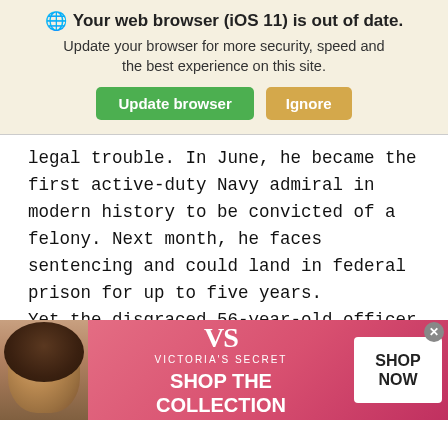[Figure (screenshot): Browser update notification banner with globe icon, title 'Your web browser (iOS 11) is out of date.', subtitle text, and two buttons: 'Update browser' (green) and 'Ignore' (tan/gold)]
legal trouble. In June, he became the first active-duty Navy admiral in modern history to be convicted of a felony. Next month, he faces sentencing and could land in federal prison for up to five years.
Yet the disgraced 56-year-old officer can count on one thing: a military pension that pays him
[Figure (screenshot): Victoria's Secret advertisement banner with model photo on left, VS logo and 'VICTORIA'S SECRET' text in center, 'SHOP THE COLLECTION' text, and 'SHOP NOW' white button on right. Pink/red gradient background. Close button (x) in top right corner.]